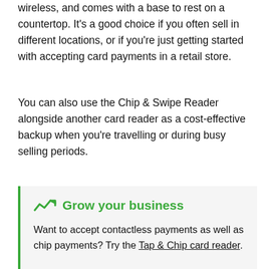wireless, and comes with a base to rest on a countertop. It's a good choice if you often sell in different locations, or if you're just getting started with accepting card payments in a retail store.
You can also use the Chip & Swipe Reader alongside another card reader as a cost-effective backup when you're travelling or during busy selling periods.
Grow your business
Want to accept contactless payments as well as chip payments? Try the Tap & Chip card reader.